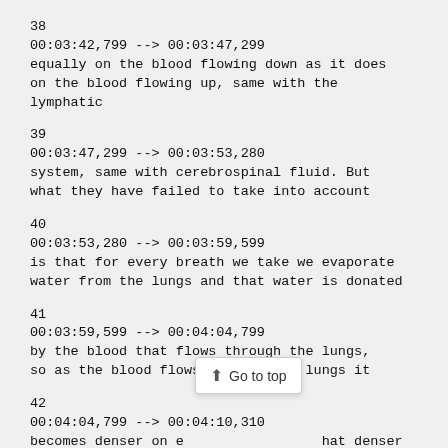38
00:03:42,799 --> 00:03:47,299
equally on the blood flowing down as it does
on the blood flowing up, same with the lymphatic
39
00:03:47,299 --> 00:03:53,280
system, same with cerebrospinal fluid. But
what they have failed to take into account
40
00:03:53,280 --> 00:03:59,599
is that for every breath we take we evaporate
water from the lungs and that water is donated
41
00:03:59,599 --> 00:04:04,799
by the blood that flows through the lungs,
so as the blood flows through the lungs it
42
00:04:04,799 --> 00:04:10,310
becomes denser on e...hat denser
blood then passes t...eart and enters